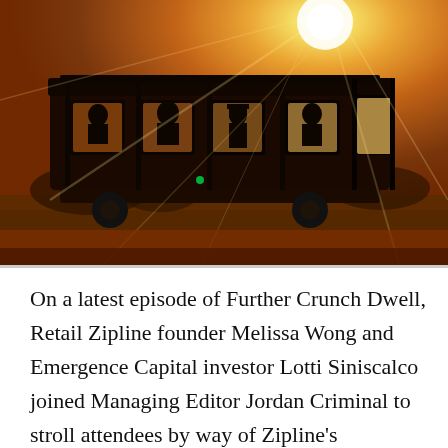[Figure (photo): A cable car or trolley car silhouetted against a bright golden sunset or sunrise. Passengers visible as silhouettes inside the car. Strong sun flare from upper right. Warm orange and golden tones fill the image.]
On a latest episode of Further Crunch Dwell, Retail Zipline founder Melissa Wong and Emergence Capital investor Lotti Siniscalco joined Managing Editor Jordan Criminal to stroll attendees by way of Zipline's